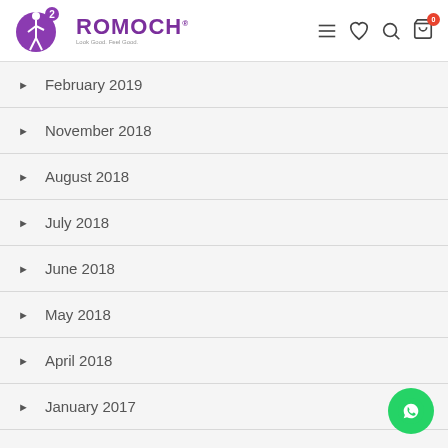ROMOCH
February 2019
November 2018
August 2018
July 2018
June 2018
May 2018
April 2018
January 2017
May 2016
Tags